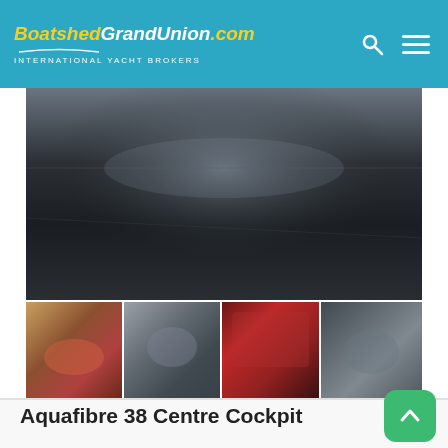BoatshedGrandUnion.com INTERNATIONAL YACHT BROKERS
[Figure (photo): Main large blurred photo of yacht interior/cockpit area, dark tones]
[Figure (photo): Thumbnail 1: warm brown/red tones, interior boat photo]
[Figure (photo): Thumbnail 2: grey/blue tones, interior boat photo]
[Figure (photo): Thumbnail 3: red/dark tones, interior boat photo]
[Figure (photo): Thumbnail 4: dark grey/blue tones, interior boat photo]
Aquafibre 38 Centre Cockpit
£49,995.00
Boatshed Norfolk